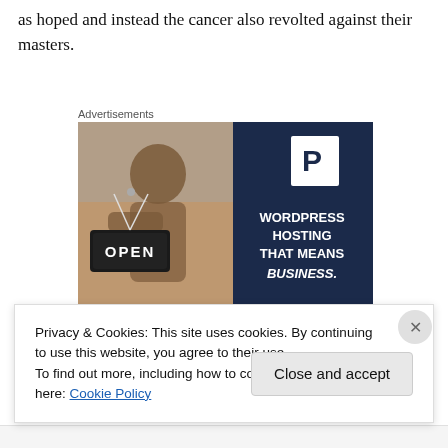as hoped and instead the cancer also revolted against their masters.
Advertisements
[Figure (photo): Advertisement image: A smiling woman holding an OPEN sign on the left half (photo), and on the right half a dark navy blue panel with a white P logo and text reading WORDPRESS HOSTING THAT MEANS BUSINESS.]
Privacy & Cookies: This site uses cookies. By continuing to use this website, you agree to their use.
To find out more, including how to control cookies, see here: Cookie Policy
Close and accept